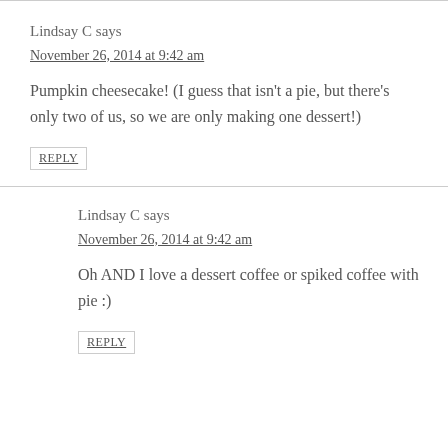Lindsay C says
November 26, 2014 at 9:42 am
Pumpkin cheesecake! (I guess that isn't a pie, but there's only two of us, so we are only making one dessert!)
REPLY
Lindsay C says
November 26, 2014 at 9:42 am
Oh AND I love a dessert coffee or spiked coffee with pie :)
REPLY